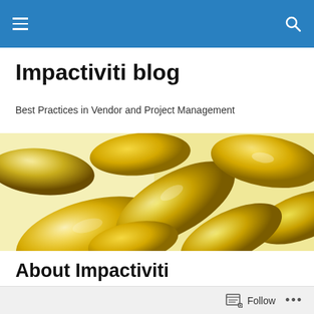Navigation bar with hamburger menu and search icon
Impactiviti blog
Best Practices in Vendor and Project Management
[Figure (photo): Close-up photo of multiple yellow/amber gel capsules (supplements) on a light background]
About Impactiviti
Impactiviti began over 10 years ago with one primary
Follow ...